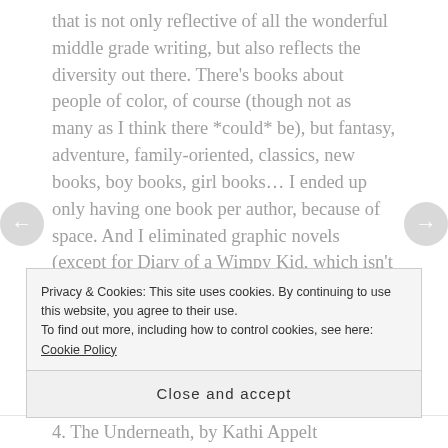that is not only reflective of all the wonderful middle grade writing, but also reflects the diversity out there. There's books about people of color, of course (though not as many as I think there *could* be), but fantasy, adventure, family-oriented, classics, new books, boy books, girl books... I ended up only having one book per author, because of space. And I eliminated graphic novels (except for Diary of a Wimpy Kid, which isn't really one). And I tried to choose the best one when I had three or four on the same theme (which wasn't easy).
It's not perfect — how could a list compiled by one person running a blog ever be? — but I think it's a dang good one, I think...
Privacy & Cookies: This site uses cookies. By continuing to use this website, you agree to their use.
To find out more, including how to control cookies, see here: Cookie Policy
Close and accept
4. The Underneath, by Kathi Appelt